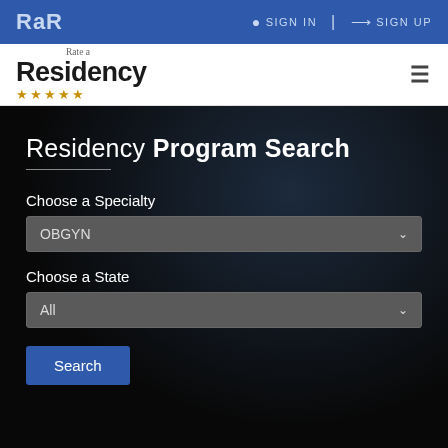RaR   SIGN IN | SIGN UP
[Figure (logo): Rate a Residency logo with gold stars]
Residency Program Search
Choose a Specialty
OBGYN
Choose a State
All
Search